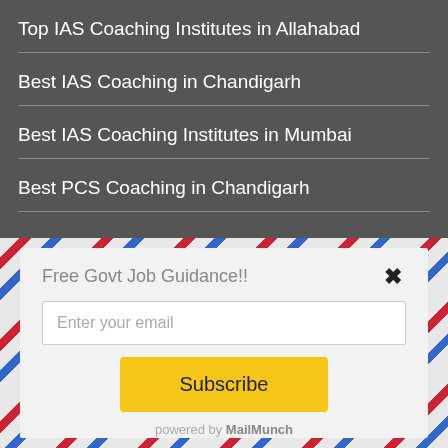Top IAS Coaching Institutes in Allahabad
Best IAS Coaching in Chandigarh
Best IAS Coaching Institutes in Mumbai
Best PCS Coaching in Chandigarh
Free Govt Job Guidance!!
Enter your email
Subscribe
powered by MailMunch